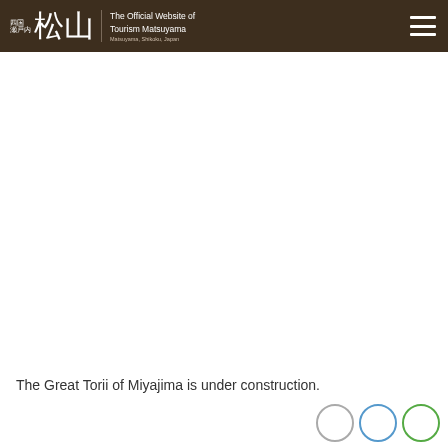四国 瀬戸内 松山 The Official Website of Tourism Matsuyama Matsuyama, Shikoku, Japan
The Great Torii of Miyajima is under construction.